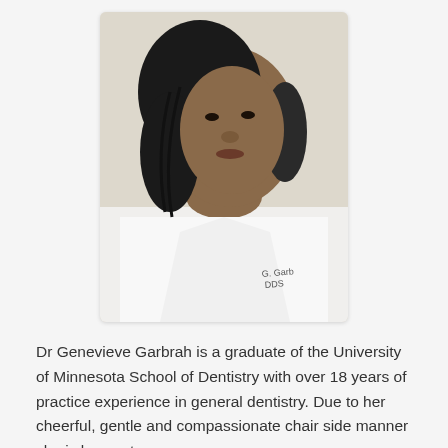[Figure (photo): Portrait photo of Dr. Genevieve Garbrah wearing a white medical coat with 'G. Garbr DDS' embroidered on it. She has dark hair and is looking slightly to the left.]
Dr Genevieve Garbrah is a graduate of the University of Minnesota School of Dentistry with over 18 years of practice experience in general dentistry. Due to her cheerful, gentle and compassionate chair side manner she is known to